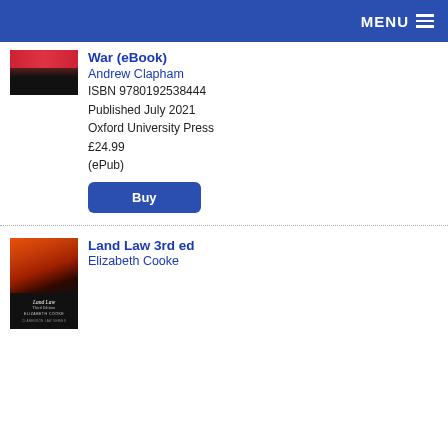MENU
War (eBook)
Andrew Clapham
ISBN 9780192538444
Published July 2021
Oxford University Press
£24.99
(ePub)
Buy
[Figure (illustration): Book cover of Land Law Third Edition by Elizabeth Cooke, Clarendon Law Series, with orange-red sunset gradient fading to black]
Land Law 3rd ed
Elizabeth Cooke